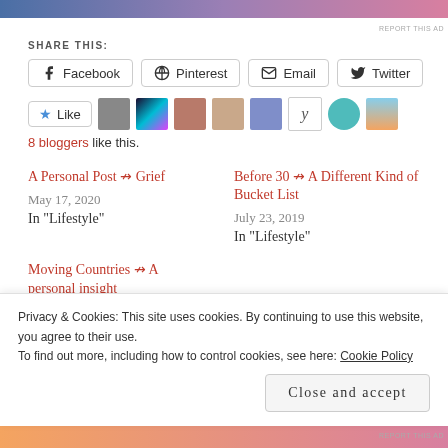[Figure (other): Ad banner with gradient from blue to pink at the top of the page]
SHARE THIS:
Facebook  Pinterest  Email  Twitter (social share buttons)
Like button with 8 blogger avatars. 8 bloggers like this.
A Personal Post ↠ Grief
May 17, 2020
In "Lifestyle"
Before 30 ↠ A Different Kind of Bucket List
July 23, 2019
In "Lifestyle"
Moving Countries ↠ A personal insight
Privacy & Cookies: This site uses cookies. By continuing to use this website, you agree to their use.
To find out more, including how to control cookies, see here: Cookie Policy
Close and accept